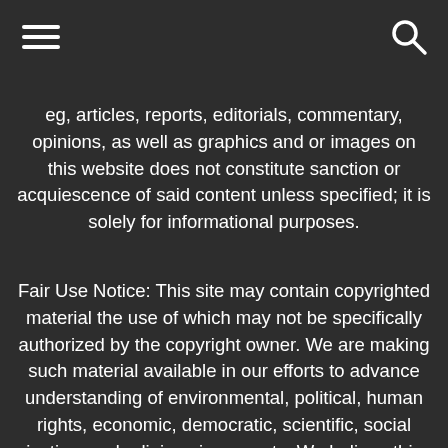[Figure (other): Hamburger menu icon (three horizontal lines) in top left corner]
[Figure (other): Search/magnifying glass icon in top right corner]
eg, articles, reports, editorials, commentary, opinions, as well as graphics and or images on this website does not constitute sanction or acquiescence of said content unless specified; it is solely for informational purposes.
Fair Use Notice: This site may contain copyrighted material the use of which may not be specifically authorized by the copyright owner. We are making such material available in our efforts to advance understanding of environmental, political, human rights, economic, democratic, scientific, social justice, and religious issues, etc. We believe this constitutes a "fair use" of any such copyrighted material as provided for in section 107 of the US Copyright Law. In accordance with Title 17 U.S.C. Section 107, the material on this site is distributed without profit to those who have expressed a prior interest in receiving the included information